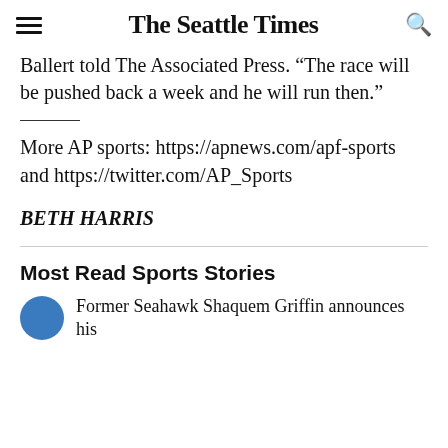The Seattle Times
Ballert told The Associated Press. "The race will be pushed back a week and he will run then."
More AP sports: https://apnews.com/apf-sports and https://twitter.com/AP_Sports
BETH HARRIS
Most Read Sports Stories
Former Seahawk Shaquem Griffin announces his